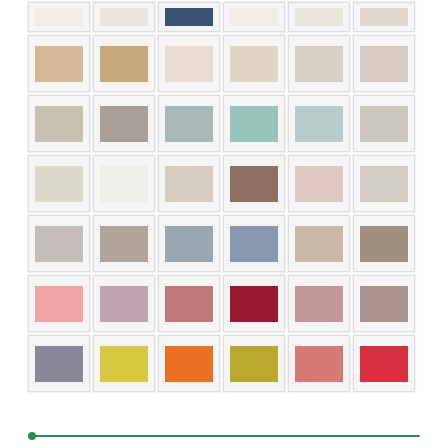[Figure (illustration): Grid of fabric/textile color swatches arranged in 7 rows of 6 swatches each. Colors range from white, beige, cream, taupe, gray, teal, pink, rose, burgundy, orange, yellow, olive, red tones. Each swatch shown as a small rectangular fabric sample with subtle texture, framed in a white border with light gray shadow.]